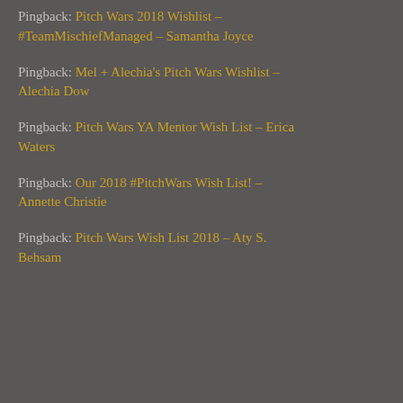Pingback: Pitch Wars 2018 Wishlist – #TeamMischiefManaged – Samantha Joyce
Pingback: Mel + Alechia's Pitch Wars Wishlist – Alechia Dow
Pingback: Pitch Wars YA Mentor Wish List – Erica Waters
Pingback: Our 2018 #PitchWars Wish List! – Annette Christie
Pingback: Pitch Wars Wish List 2018 – Aty S. Behsam